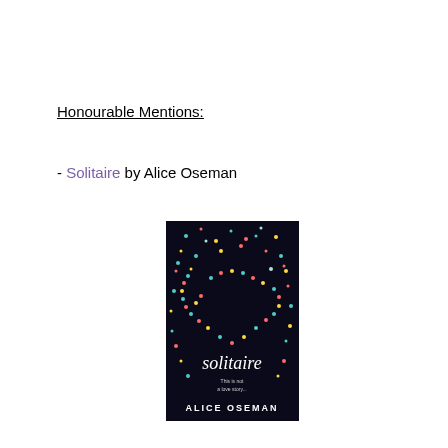Honourable Mentions:
- Solitaire by Alice Oseman
[Figure (illustration): Book cover of 'Solitaire' by Alice Oseman — dark background with colourful confetti dots forming a heart shape, text 'solitaire', 'This is not a love story...', and 'ALICE OSEMAN' at the bottom.]